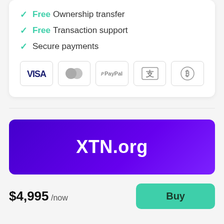Free Ownership transfer
Free Transaction support
Secure payments
[Figure (infographic): Payment method icons: VISA, Mastercard, PayPal, Alipay/UnionPay, Bitcoin]
[Figure (infographic): Purple domain banner showing XTN.org in bold white text]
$4,995 /now
Buy